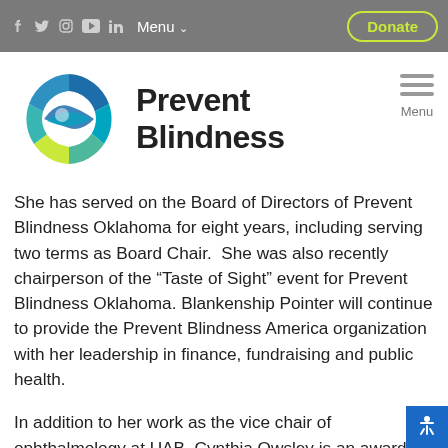Menu  Donate
[Figure (logo): Prevent Blindness circular logo with blue, teal, green and yellow segments]
Prevent Blindness
She has served on the Board of Directors of Prevent Blindness Oklahoma for eight years, including serving two terms as Board Chair.  She was also recently chairperson of the “Taste of Sight” event for Prevent Blindness Oklahoma. Blankenship Pointer will continue to provide the Prevent Blindness America organization with her leadership in finance, fundraising and public health.
In addition to her work as the vice chair of ophthalmology at UAB, Cynthia Owsley is an award-winning researcher, published author and